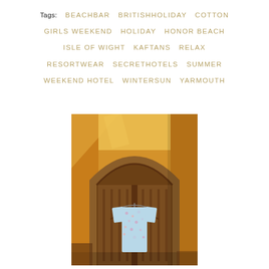Tags: BEACHBAR BRITISHHOLIDAY COTTON GIRLS WEEKEND HOLIDAY HONOR BEACH ISLE OF WIGHT KAFTANS RELAX RESORTWEAR SECRETHOTELS SUMMER WEEKEND HOTEL WINTERSUN YARMOUTH
[Figure (photo): A light blue floral kaftan/dress hanging on a large ornate wooden Moorish-style arched door set in a yellow/orange wall, with sunlight casting shadows.]